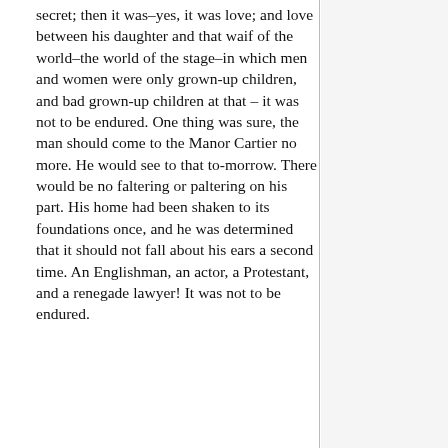secret; then it was–yes, it was love; and love between his daughter and that waif of the world–the world of the stage–in which men and women were only grown-up children, and bad grown-up children at that – it was not to be endured. One thing was sure, the man should come to the Manor Cartier no more. He would see to that to-morrow. There would be no faltering or paltering on his part. His home had been shaken to its foundations once, and he was determined that it should not fall about his ears a second time. An Englishman, an actor, a Protestant, and a renegade lawyer! It was not to be endured.